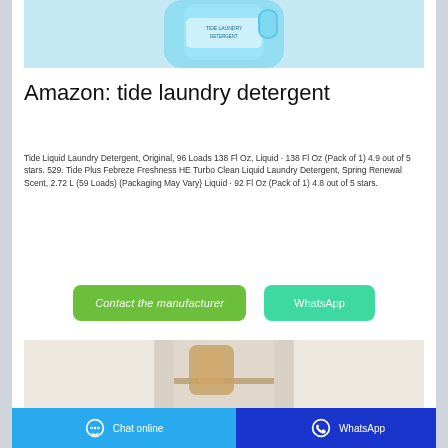[Figure (photo): Partial view of a blue Tide laundry detergent bottle top]
Amazon: tide laundry detergent
Tide Liquid Laundry Detergent, Original, 96 Loads 138 Fl Oz, Liquid · 138 Fl Oz (Pack of 1) 4.9 out of 5 stars. 529. Tide Plus Febreze Freshness HE Turbo Clean Liquid Laundry Detergent, Spring Renewal Scent, 2.72 L (59 Loads) (Packaging May Vary} Liquid · 92 Fl Oz (Pack of 1) 4.8 out of 5 stars.
[Figure (screenshot): Contact the manufacturer and WhatsApp buttons]
[Figure (photo): Partial bottom image showing another product]
Chat online   WhatsApp